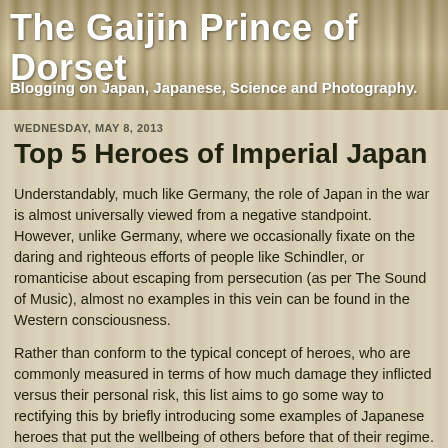The Gaijin Prince of Dorset
Blogging on Japan, Japanese, Science and Photography.
WEDNESDAY, MAY 8, 2013
Top 5 Heroes of Imperial Japan
Understandably, much like Germany, the role of Japan in the war is almost universally viewed from a negative standpoint. However, unlike Germany, where we occasionally fixate on the daring and righteous efforts of people like Schindler, or romanticise about escaping from persecution (as per The Sound of Music), almost no examples in this vein can be found in the Western consciousness.
Rather than conform to the typical concept of heroes, who are commonly measured in terms of how much damage they inflicted versus their personal risk, this list aims to go some way to rectifying this by briefly introducing some examples of Japanese heroes that put the wellbeing of others before that of their regime.